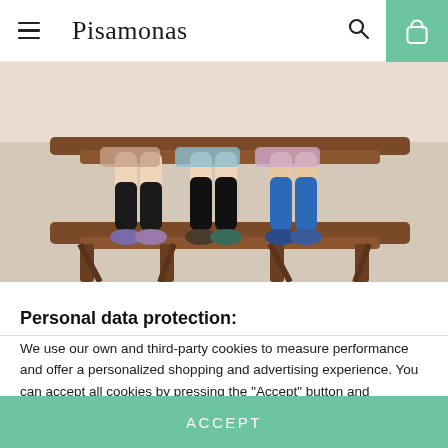Pisamonas
[Figure (photo): Three children sitting on a wooden bench showing their legs and feet wearing colorful socks and sneakers]
Personal data protection:
We use our own and third-party cookies to measure performance and offer a personalized shopping and advertising experience. You can accept all cookies by pressing the "Accept" button and configure or reject their use by clicking here.
ACCEPT